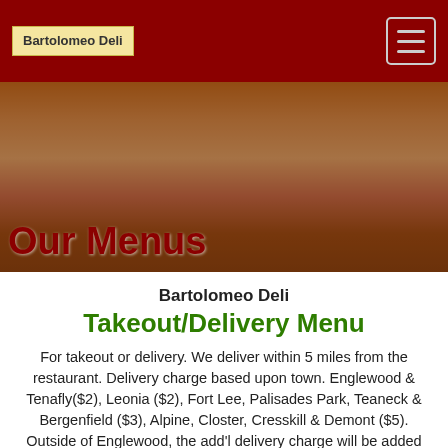Bartolomeo Deli
[Figure (photo): Hero image of food with warm brown tones, with 'Our Menus' title overlay]
Our Menus
Bartolomeo Deli
Takeout/Delivery Menu
For takeout or delivery. We deliver within 5 miles from the restaurant. Delivery charge based upon town. Englewood & Tenafly($2), Leonia ($2), Fort Lee, Palisades Park, Teaneck & Bergenfield ($3), Alpine, Closter, Cresskill & Demont ($5). Outside of Englewood, the add'l delivery charge will be added by the